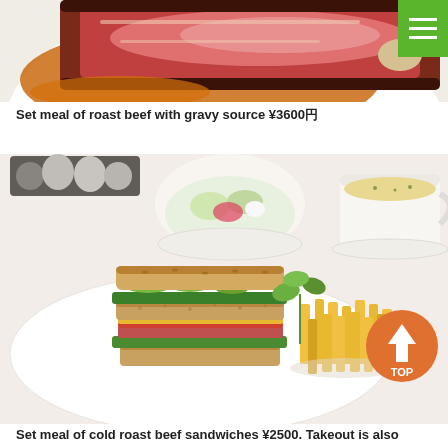[Figure (photo): Top portion of a roast beef set meal on a white plate with orange gravy sauce, served on a light background, with a green hamburger menu icon in the top-right corner.]
Set meal of roast beef with gravy source ¥3600円
[Figure (photo): A club sandwich set meal with cold roast beef sandwiches cut and stacked, served with french fries on a white plate, accompanied by a salad bowl and soup cup in the background. An orange circular TOP navigation button is visible in the bottom-right corner.]
Set meal of cold roast beef sandwiches ¥2500. Takeout is also